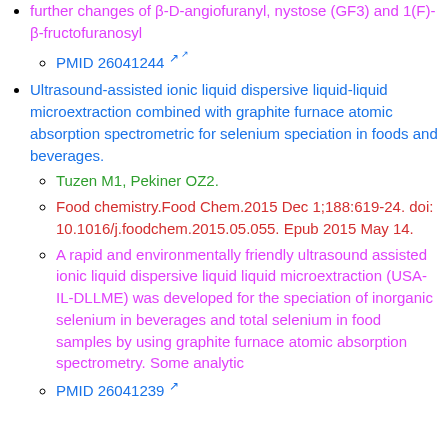further changes of β-D-angiofuranyl, nystose (GF3) and 1(F)-β-fructofuranosyl
PMID 26041244 ↗
Ultrasound-assisted ionic liquid dispersive liquid-liquid microextraction combined with graphite furnace atomic absorption spectrometric for selenium speciation in foods and beverages.
Tuzen M1, Pekiner OZ2.
Food chemistry.Food Chem.2015 Dec 1;188:619-24. doi: 10.1016/j.foodchem.2015.05.055. Epub 2015 May 14.
A rapid and environmentally friendly ultrasound assisted ionic liquid dispersive liquid liquid microextraction (USA-IL-DLLME) was developed for the speciation of inorganic selenium in beverages and total selenium in food samples by using graphite furnace atomic absorption spectrometry. Some analytic
PMID 26041239 ↗